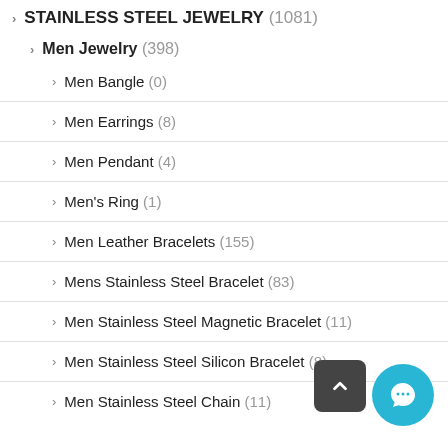STAINLESS STEEL JEWELRY (1081)
Men Jewelry (398)
Men Bangle (0)
Men Earrings (8)
Men Pendant (4)
Men's Ring (1)
Men Leather Bracelets (155)
Mens Stainless Steel Bracelet (83)
Men Stainless Steel Magnetic Bracelet (11)
Men Stainless Steel Silicon Bracelet (8)
Men Stainless Steel Chain (11)